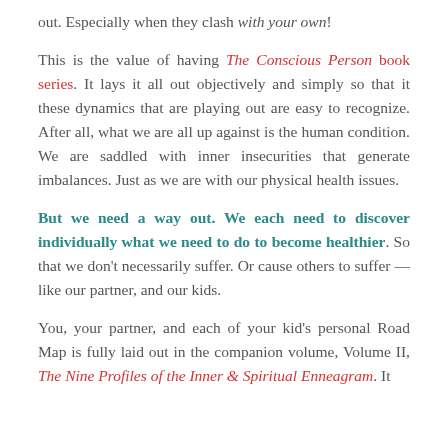out. Especially when they clash with your own!
This is the value of having The Conscious Person book series. It lays it all out objectively and simply so that it these dynamics that are playing out are easy to recognize. After all, what we are all up against is the human condition. We are saddled with inner insecurities that generate imbalances. Just as we are with our physical health issues.
But we need a way out. We each need to discover individually what we need to do to become healthier. So that we don't necessarily suffer. Or cause others to suffer — like our partner, and our kids.
You, your partner, and each of your kid's personal Road Map is fully laid out in the companion volume, Volume II, The Nine Profiles of the Inner & Spiritual Enneagram. It